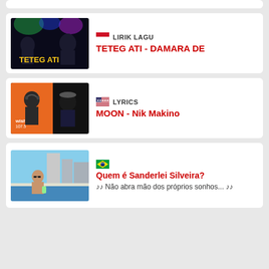[Figure (screenshot): Thumbnail for Teteg Ati - Damara De music video showing performers on stage]
🇮🇩 LIRIK LAGU
TETEG ATI - DAMARA DE
[Figure (screenshot): Thumbnail for Moon - Nik Makino, showing rappers at Wish 107.5 radio]
🇺🇸 LYRICS
MOON - Nik Makino
[Figure (screenshot): Thumbnail for Quem é Sanderlei Silveira showing man by pool]
🇧🇷
Quem é Sanderlei Silveira?
♪♪ Não abra mão dos próprios sonhos... ♪♪